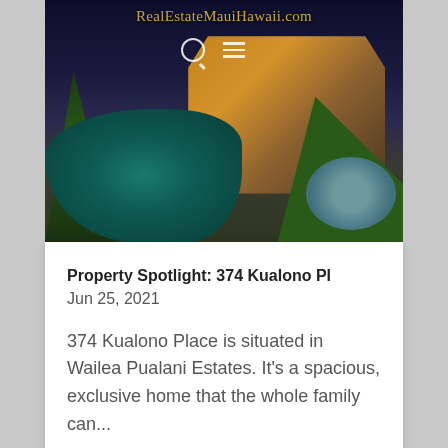RealEstateMauiHawaii.com
[Figure (photo): Luxury home with pool at night, Wailea Maui Hawaii. The house has warm lighting, a curving pool in the foreground, tropical landscaping with palm trees and blue flowers.]
Property Spotlight: 374 Kualono Pl
Jun 25, 2021
374 Kualono Place is situated in Wailea Pualani Estates. It's a spacious, exclusive home that the whole family can...